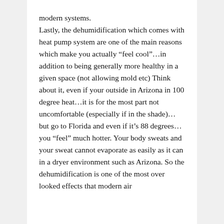modern systems. Lastly, the dehumidification which comes with heat pump system are one of the main reasons which make you actually “feel cool”…in addition to being generally more healthy in a given space (not allowing mold etc) Think about it, even if your outside in Arizona in 100 degree heat…it is for the most part not uncomfortable (especially if in the shade)…but go to Florida and even if it’s 88 degrees…you “feel” much hotter. Your body sweats and your sweat cannot evaporate as easily as it can in a dryer environment such as Arizona. So the dehumidification is one of the most over looked effects that modern air